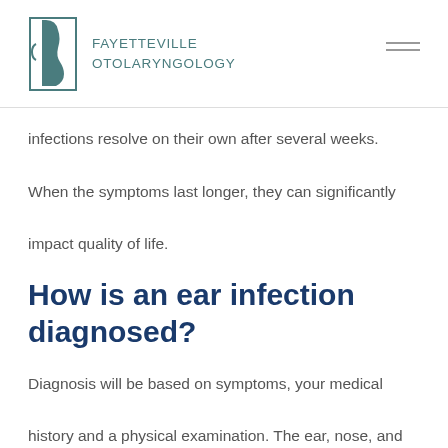FAYETTEVILLE OTOLARYNGOLOGY
infections resolve on their own after several weeks. When the symptoms last longer, they can significantly impact quality of life.
How is an ear infection diagnosed?
Diagnosis will be based on symptoms, your medical history and a physical examination. The ear, nose, and